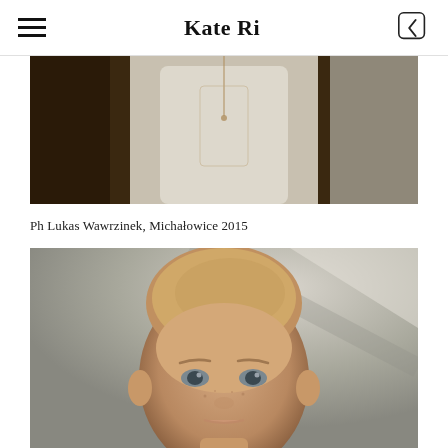Kate Ri
[Figure (photo): Partial photo of a woman in a white dress with a necklace, torso visible, standing in a dimly lit room]
Ph Lukas Wawrzinek, Michałowice 2015
[Figure (photo): Close-up portrait of a young woman with short blonde hair, blue-grey eyes, and freckles, looking directly at the camera against a soft blurred background]